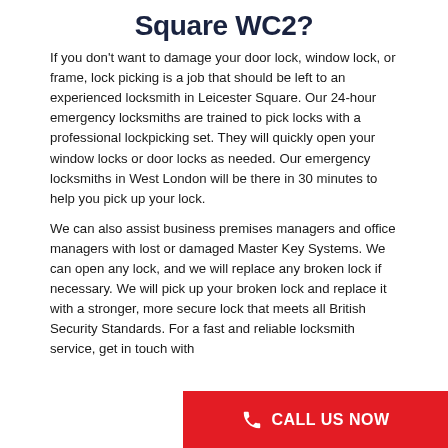Square WC2?
If you don't want to damage your door lock, window lock, or frame, lock picking is a job that should be left to an experienced locksmith in Leicester Square. Our 24-hour emergency locksmiths are trained to pick locks with a professional lockpicking set. They will quickly open your window locks or door locks as needed. Our emergency locksmiths in West London will be there in 30 minutes to help you pick up your lock.
We can also assist business premises managers and office managers with lost or damaged Master Key Systems. We can open any lock, and we will replace any broken lock if necessary. We will pick up your broken lock and replace it with a stronger, more secure lock that meets all British Security Standards. For a fast and … service, get in touch with …
[Figure (other): Red CALL US NOW button with phone icon overlay in bottom right corner]